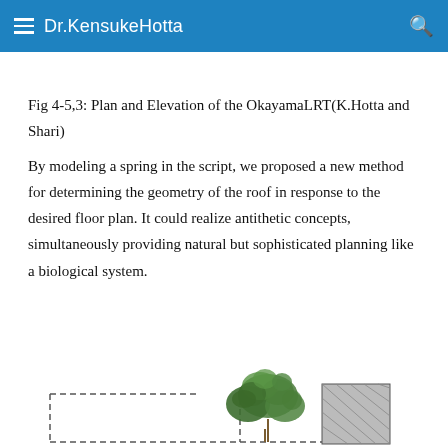Dr.KensukeHotta
Fig 4-5,3: Plan and Elevation of the OkayamaLRT(K.Hotta and Shari)
By modeling a spring in the script, we proposed a new method for determining the geometry of the roof in response to the desired floor plan. It could realize antithetic concepts, simultaneously providing natural but sophisticated planning like a biological system.
[Figure (engineering-diagram): Partial plan and elevation drawing of the OkayamaLRT showing a floor plan outline with dashed lines and a tree/vegetation element with a hatched rectangular block beside it.]